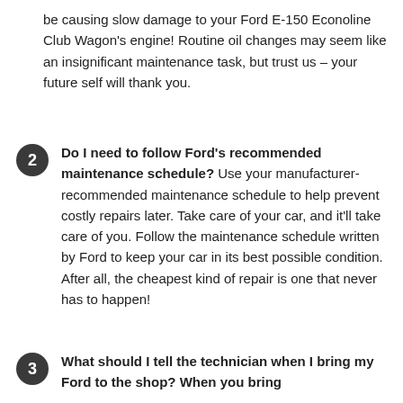be causing slow damage to your Ford E-150 Econoline Club Wagon's engine! Routine oil changes may seem like an insignificant maintenance task, but trust us – your future self will thank you.
Do I need to follow Ford's recommended maintenance schedule? Use your manufacturer-recommended maintenance schedule to help prevent costly repairs later. Take care of your car, and it'll take care of you. Follow the maintenance schedule written by Ford to keep your car in its best possible condition. After all, the cheapest kind of repair is one that never has to happen!
What should I tell the technician when I bring my Ford to the shop? When you bring...